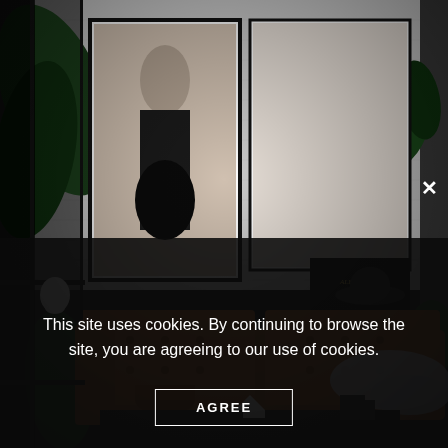[Figure (photo): Interior design photo showing a modern living room with a brown tufted leather sofa, large tropical plants, framed artwork on a white brick wall including a fashion portrait, an Alexander McQueen book, a black hat, a fur throw, and decorative items on a coffee table. Dark moody aesthetic.]
This site uses cookies. By continuing to browse the site, you are agreeing to our use of cookies.
AGREE